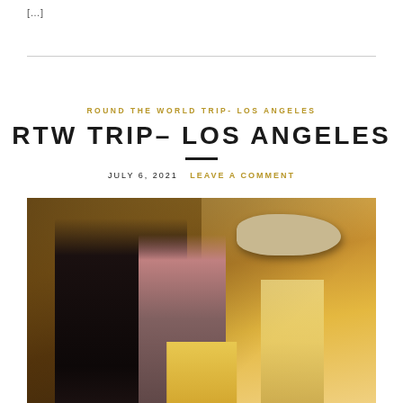[...]
ROUND THE WORLD TRIP- LOS ANGELES
RTW TRIP– LOS ANGELES
JULY 6, 2021   LEAVE A COMMENT
[Figure (photo): A couple wearing face masks standing in a modern architectural space with dramatic diagonal shadows and warm golden light. In the background, a large floating rock sculpture is visible, and a narrow corridor leads into the distance with warm sunset light.]